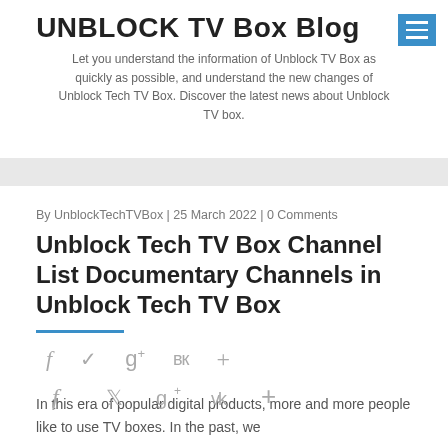UNBLOCK TV Box Blog
Let you understand the information of Unblock TV Box as quickly as possible, and understand the new changes of Unblock Tech TV Box. Discover the latest news about Unblock TV box.
By UnblockTechTVBox | 25 March 2022 | 0 Comments
Unblock Tech TV Box Channel List Documentary Channels in Unblock Tech TV Box
In this era of popular digital products, more and more people like to use TV boxes. In the past, we